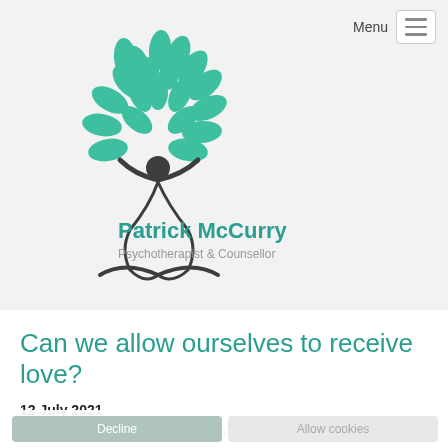Menu
[Figure (logo): Patrick McCurry Psychotherapist & Counsellor logo — a stylized human figure with arms raised beneath a tree made of green leaf shapes, with text 'Patrick McCurry' in teal and 'Psychotherapist & Counsellor' in grey beneath]
Can we allow ourselves to receive love?
12 July 2021
"It is often hard to let ourselves receive love, even when